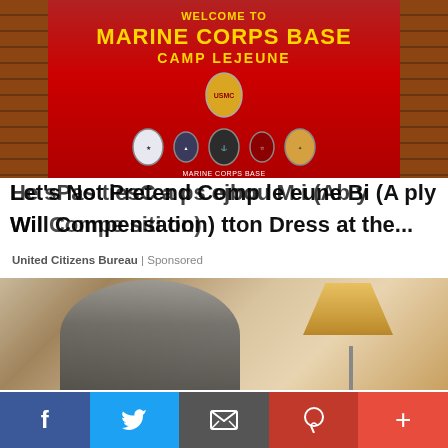[Figure (photo): Welcome to Marine Corps Base Camp Lejeune sign on a red background with brick columns and military unit emblems/seals displayed below the text]
Let's Not Pretend Camp Lejeune Bill (Apply Will Compensation) tton Dress at the...
United Citizens Bureau | Sponsored
[Figure (photo): Person wearing glasses in a warmly lit room with plants and a hanging lamp]
f  t  [email]  p  +